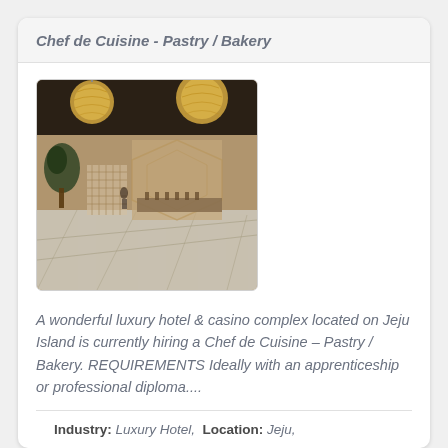Chef de Cuisine - Pastry / Bakery
[Figure (photo): Interior of a luxury hotel lobby with ornate spherical pendant lights, marble flooring, decorative wall panels, and a reception area visible in the background.]
A wonderful luxury hotel & casino complex located on Jeju Island is currently hiring a Chef de Cuisine – Pastry / Bakery. REQUIREMENTS Ideally with an apprenticeship or professional diploma....
APPLY NOW
Industry: Luxury Hotel,  Location: Jeju,